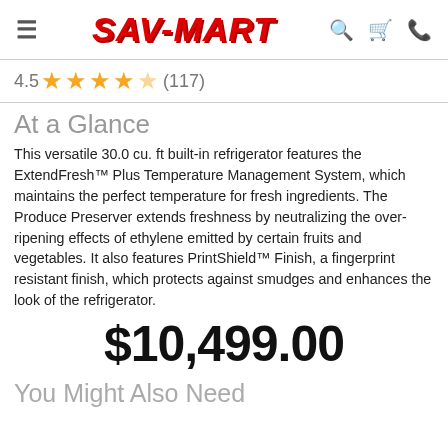SAV-MART (navigation header with hamburger menu, search, cart, phone icons)
4.5 ★★★★☆ (117)
At a Glance
This versatile 30.0 cu. ft built-in refrigerator features the ExtendFresh™ Plus Temperature Management System, which maintains the perfect temperature for fresh ingredients. The Produce Preserver extends freshness by neutralizing the over-ripening effects of ethylene emitted by certain fruits and vegetables. It also features PrintShield™ Finish, a fingerprint resistant finish, which protects against smudges and enhances the look of the refrigerator.
$10,499.00
You Might Also Need